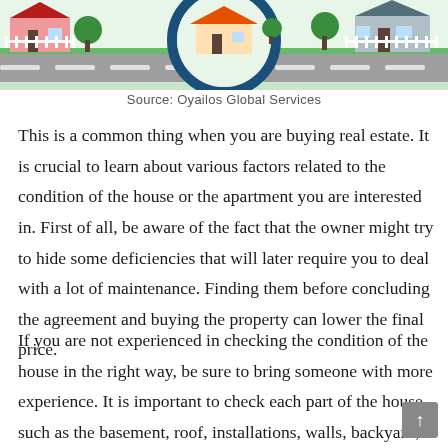[Figure (illustration): Cartoon illustration of a suburban neighborhood street with houses, trees, fences, and a road with dashed lane markings. A large circular magnifying-glass or decorative circle element overlays the center top.]
Source: Oyailos Global Services
This is a common thing when you are buying real estate. It is crucial to learn about various factors related to the condition of the house or the apartment you are interested in. First of all, be aware of the fact that the owner might try to hide some deficiencies that will later require you to deal with a lot of maintenance. Finding them before concluding the agreement and buying the property can lower the final price.
If you are not experienced in checking the condition of the house in the right way, be sure to bring someone with more experience. It is important to check each part of the house, such as the basement, roof, installations, walls, backyard, isolation, and more.